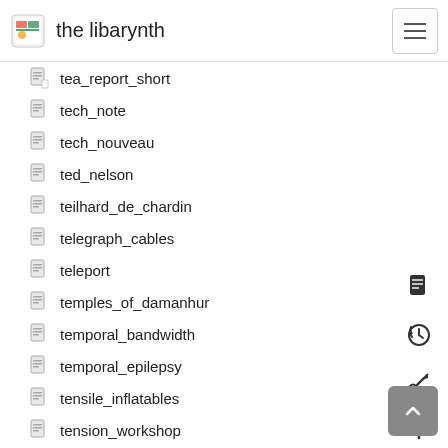the libarynth
tea_report_short
tech_note
tech_nouveau
ted_nelson
teilhard_de_chardin
telegraph_cables
teleport
temples_of_damanhur
temporal_bandwidth
temporal_epilepsy
tensile_inflatables
tension_workshop
tension_workshop_schedule
terence_mckenna
test-diagrams
test
test_files
test_oembed